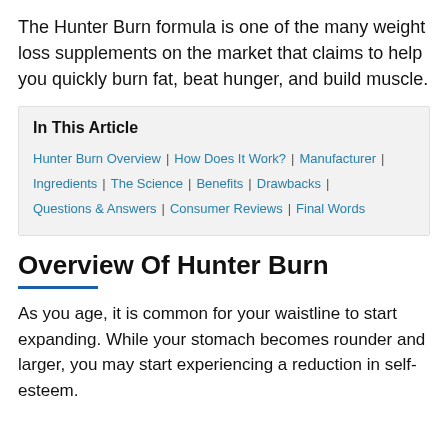The Hunter Burn formula is one of the many weight loss supplements on the market that claims to help you quickly burn fat, beat hunger, and build muscle.
In This Article
Hunter Burn Overview | How Does It Work? | Manufacturer | Ingredients | The Science | Benefits | Drawbacks | Questions & Answers | Consumer Reviews | Final Words
Overview Of Hunter Burn
As you age, it is common for your waistline to start expanding. While your stomach becomes rounder and larger, you may start experiencing a reduction in self-esteem.